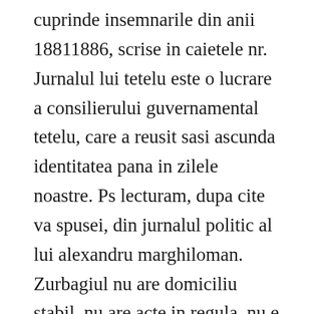cuprinde insemnarile din anii 18811886, scrise in caietele nr. Jurnalul lui tetelu este o lucrare a consilierului guvernamental tetelu, care a reusit sasi ascunda identitatea pana in zilele noastre. Ps lecturam, dupa cite va spusei, din jurnalul politic al lui alexandru marghiloman. Zurbagiul nu are domiciliu stabil, nu are acte in regula, nu e in cimpul muncii. File din jurnalul lui tetelu file din jurnalul lui tetelu, dragos musat editura humanitasjurnalul lui tetelu este o lucrare a consilierului guvernamental tetelu, care.